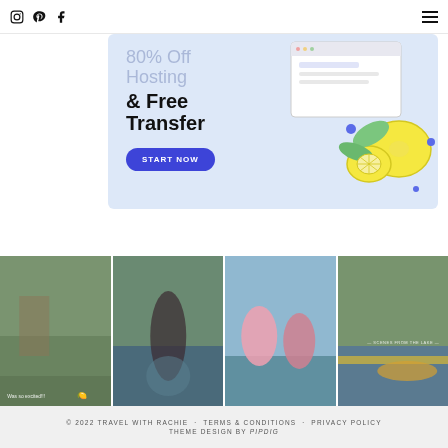Social icons (Instagram, Pinterest, Facebook) and hamburger menu
[Figure (illustration): Advertisement banner with light blue background showing '80% Off Hosting & Free Transfer' text and lemon illustration with a blue 'START NOW' button]
[Figure (photo): Strip of four outdoor/water scene photos showing people at a lake or pool setting]
© 2022 TRAVEL WITH RACHIE · TERMS & CONDITIONS · PRIVACY POLICY   THEME DESIGN BY pipdig